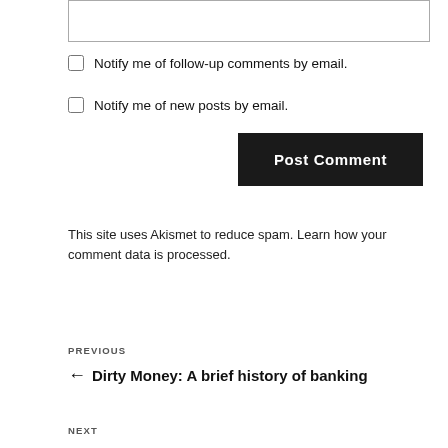Notify me of follow-up comments by email.
Notify me of new posts by email.
Post Comment
This site uses Akismet to reduce spam. Learn how your comment data is processed.
PREVIOUS
← Dirty Money: A brief history of banking
NEXT